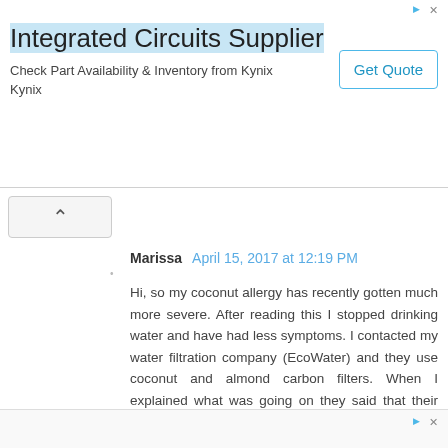[Figure (other): Advertisement banner for Integrated Circuits Supplier - Kynix. Shows title 'Integrated Circuits Supplier', subtext 'Check Part Availability & Inventory from Kynix Kynix', and a 'Get Quote' button.]
Marissa April 15, 2017 at 12:19 PM
Hi, so my coconut allergy has recently gotten much more severe. After reading this I stopped drinking water and have had less symptoms. I contacted my water filtration company (EcoWater) and they use coconut and almond carbon filters. When I explained what was going on they said that their carbon supplier told them that the way they burn the coconut and almond shells should remove all the proteins that people are allergic to so it shouldn't be causing any reactions.
Any thoughts? I tend to not believe them because coconut is coconut, even if it's burned to a crisp.
Reply
[Figure (other): Advertisement banner bottom strip.]